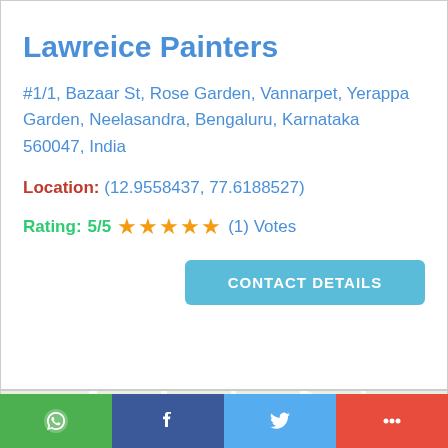Lawreice Painters
#1/1, Bazaar St, Rose Garden, Vannarpet, Yerappa Garden, Neelasandra, Bengaluru, Karnataka 560047, India
Location: (12.9558437, 77.6188527)
Rating: 5/5 ★★★★★ (1) Votes
[Figure (map): Google Maps view showing STAGE 2, 12th C road area, H Colony, 3rd Main Rd, BM KAVA, Aerc Develo area in Bengaluru]
[Figure (infographic): Social sharing bar with WhatsApp (green), Facebook (dark blue), Twitter (light blue), and More (red) buttons]